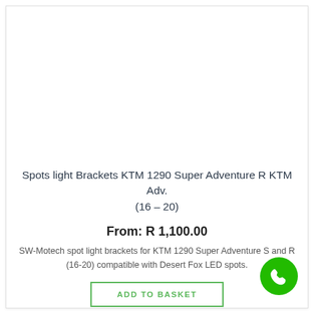Spots light Brackets KTM 1290 Super Adventure R KTM Adv. (16 – 20)
From: R 1,100.00
SW-Motech spot light brackets for KTM 1290 Super Adventure S and R (16-20) compatible with Desert Fox LED spots.
ADD TO BASKET